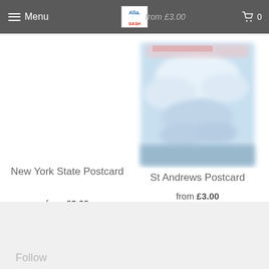Menu  [logo: Alia GASH]  from £3.00  [cart] 0
[Figure (photo): New York State Postcard product image (not visible/blank in this crop)]
New York State Postcard
from £3.00
[Figure (photo): St Andrews Postcard product image - a blurred postcard with blue sky and clouds, with pink/red header text at top]
St Andrews Postcard
from £3.00
Follow